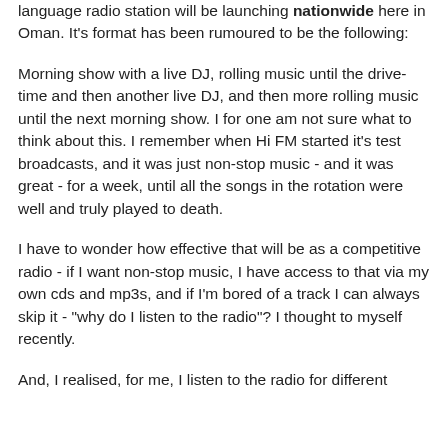language radio station will be launching nationwide here in Oman. It's format has been rumoured to be the following:
Morning show with a live DJ, rolling music until the drive-time and then another live DJ, and then more rolling music until the next morning show. I for one am not sure what to think about this. I remember when Hi FM started it's test broadcasts, and it was just non-stop music - and it was great - for a week, until all the songs in the rotation were well and truly played to death.
I have to wonder how effective that will be as a competitive radio - if I want non-stop music, I have access to that via my own cds and mp3s, and if I'm bored of a track I can always skip it - "why do I listen to the radio"? I thought to myself recently.
And, I realised, for me, I listen to the radio for different reasons at different times, but the main one all...